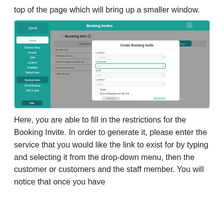top of the page which will bring up a smaller window.
[Figure (screenshot): Screenshot of a booking management software interface showing the 'Booking Invites' section with an open 'Create Booking Invite' modal dialog. The modal has fields for Location, Customer, Staff, and Location, plus checkboxes and action buttons.]
Here, you are able to fill in the restrictions for the Booking Invite. In order to generate it, please enter the service that you would like the link to exist for by typing and selecting it from the drop-down menu, then the customer or customers and the staff member. You will notice that once you have